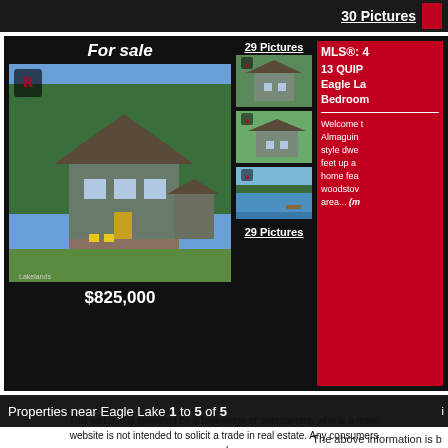30 Pictures
[Figure (photo): For sale listing card showing a cottage-style home surrounded by trees. Main large photo shows a gray wooden house with deck and yellow chairs. Three thumbnail photos show the same property from different angles and a lake view. Price shown: $825,000. MLS listing for 13 QUIP... Eagle La... Bedroom... with description about Almaguin area.]
Properties near Eagle Lake 1 to 5 of 5
The above information is b
This website is operated by a brokerage or salesperson who is a mem... website is not intended to solicit a trade in real estate. Any consumers... real e...